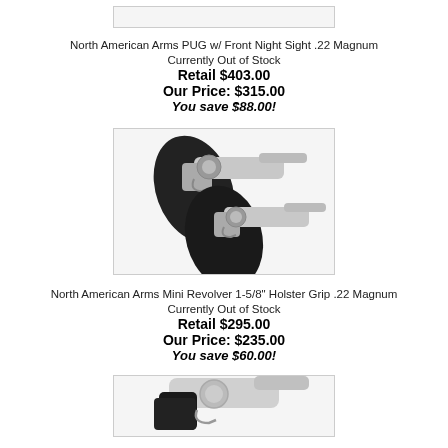[Figure (photo): Partial product image at top of page (cropped, mostly white)]
North American Arms PUG w/ Front Night Sight .22 Magnum
Currently Out of Stock
Retail $403.00
Our Price: $315.00
You save $88.00!
[Figure (photo): Two small revolvers with black holsters, North American Arms mini revolvers]
North American Arms Mini Revolver 1-5/8" Holster Grip .22 Magnum
Currently Out of Stock
Retail $295.00
Our Price: $235.00
You save $60.00!
[Figure (photo): Small silver revolver with black grip, North American Arms mini revolver]